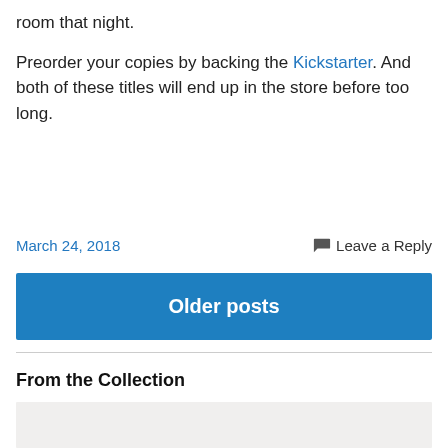room that night.
Preorder your copies by backing the Kickstarter. And both of these titles will end up in the store before too long.
March 24, 2018
Leave a Reply
Older posts
From the Collection
[Figure (photo): Partial view of a light-colored image at bottom of page]